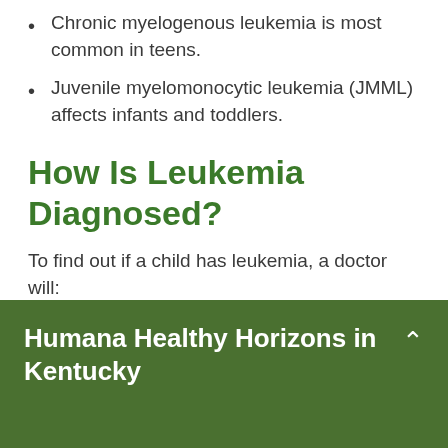Chronic myelogenous leukemia is most common in teens.
Juvenile myelomonocytic leukemia (JMML) affects infants and toddlers.
How Is Leukemia Diagnosed?
To find out if a child has leukemia, a doctor will:
Ask questions about the symptoms.
Do a complete look for signs of infection...
Humana Healthy Horizons in Kentucky